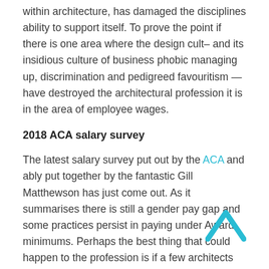within architecture, has damaged the disciplines ability to support itself. To prove the point if there is one area where the design cult– and its insidious culture of business phobic managing up, discrimination and pedigreed favouritism — have destroyed the architectural profession it is in the area of employee wages.
2018 ACA salary survey
The latest salary survey put out by the ACA and ably put together by the fantastic Gill Matthewson has just come out. As it summarises there is still a gender pay gap and some practices persist in paying under Award minimums. Perhaps the best thing that could happen to the profession is if a few architects were prosecuted for paying less than the award wage.